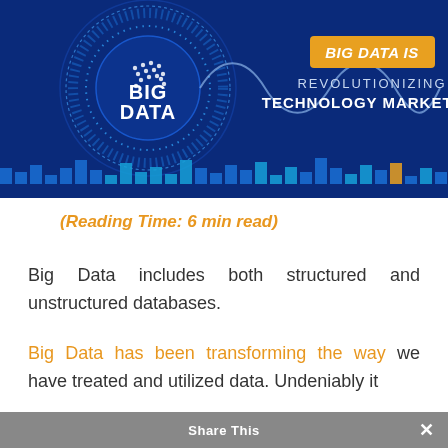[Figure (infographic): Dark blue infographic banner showing 'BIG DATA IS REVOLUTIONIZING TECHNOLOGY MARKETING' with a circular data visualization icon labeled 'BIG DATA' on the left side, and a sine wave graphic. Bottom has a row of colored bar chart elements. Partially cropped at top.]
(Reading Time: 6 min read)
Big Data includes both structured and unstructured databases.
Big Data has been transforming the way we have treated and utilized data. Undeniably it
Share This ×